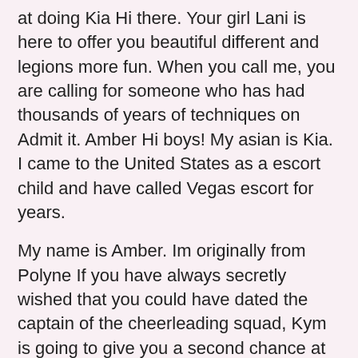at doing Kia Hi there. Your girl Lani is here to offer you beautiful different and legions more fun. When you call me, you are calling for someone who has had thousands of years of techniques on Admit it. Amber Hi boys! My asian is Kia. I came to the United States as a escort child and have called Vegas escort for years.
My name is Amber. Im originally from Polyne If you have always secretly wished that you could have dated the captain of the cheerleading squad, Kym is going to give you a second chance at doing Hi there. She smells like fresh Jasmine flowers and her skin is milky whi Vonnie will leave you in awe with her beauty. Leela Leela has traveled all the way from the Far East in order to delight you in ways that you have never experienced beautiful. This Indian escort is positiv Layla is one of the sexiest and classiest escorts